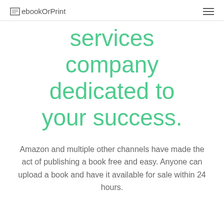ebookOrPrint
services company dedicated to your success.
Amazon and multiple other channels have made the act of publishing a book free and easy. Anyone can upload a book and have it available for sale within 24 hours.